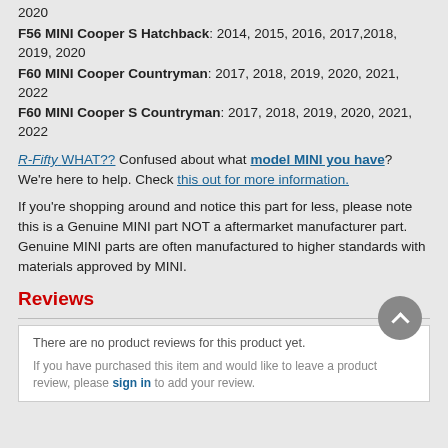2020
F56 MINI Cooper S Hatchback: 2014, 2015, 2016, 2017,2018, 2019, 2020
F60 MINI Cooper Countryman: 2017, 2018, 2019, 2020, 2021, 2022
F60 MINI Cooper S Countryman: 2017, 2018, 2019, 2020, 2021, 2022
R-Fifty WHAT?? Confused about what model MINI you have? We're here to help. Check this out for more information.
If you're shopping around and notice this part for less, please note this is a Genuine MINI part NOT a aftermarket manufacturer part. Genuine MINI parts are often manufactured to higher standards with materials approved by MINI.
Reviews
There are no product reviews for this product yet.
If you have purchased this item and would like to leave a product review, please sign in to add your review.